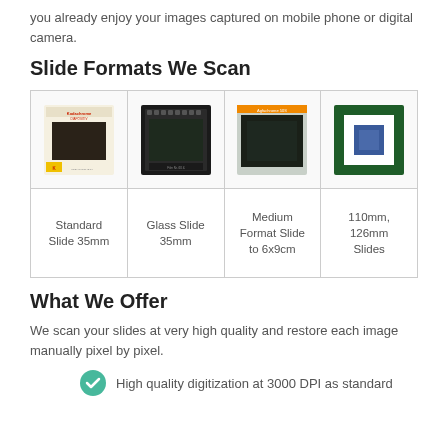you already enjoy your images captured on mobile phone or digital camera.
Slide Formats We Scan
[Figure (table-as-image): A 2-row, 4-column grid showing four types of photographic slides with images on top and labels below: Standard Slide 35mm, Glass Slide 35mm, Medium Format Slide to 6x9cm, 110mm, 126mm Slides]
What We Offer
We scan your slides at very high quality and restore each image manually pixel by pixel.
High quality digitization at 3000 DPI as standard